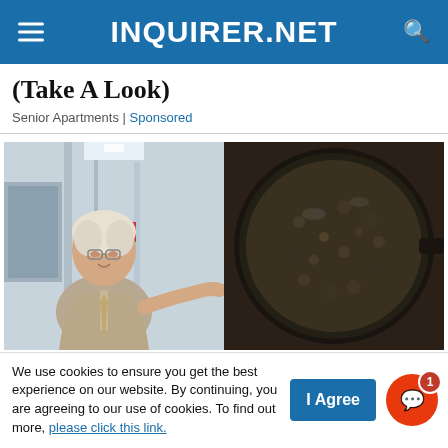INQUIRER.NET
(Take A Look)
Senior Apartments | Sponsored
[Figure (photo): Two-panel advertisement image: left side shows an elderly man in a suit pointing to the right, standing in a hospital/office corridor; right side shows a close-up of food cooking in a dark pan.]
We use cookies to ensure you get the best experience on our website. By continuing, you are agreeing to our use of cookies. To find out more, please click this link.